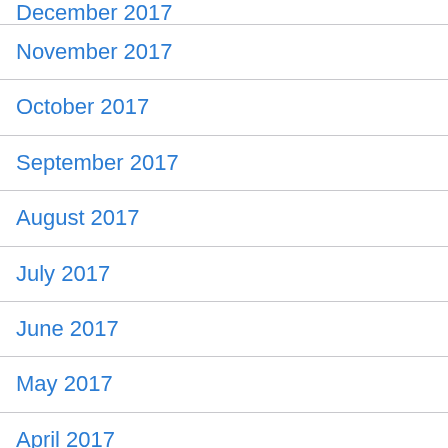December 2017
November 2017
October 2017
September 2017
August 2017
July 2017
June 2017
May 2017
April 2017
March 2017